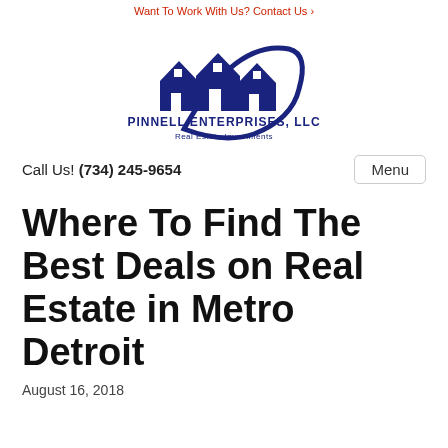Want To Work With Us? Contact Us ›
[Figure (logo): Pinnell Enterprises, LLC Real Estate Investments logo — dark blue houses with swoosh arc graphic and company name text below]
Call Us! (734) 245-9654
Menu
Where To Find The Best Deals on Real Estate in Metro Detroit
August 16, 2018